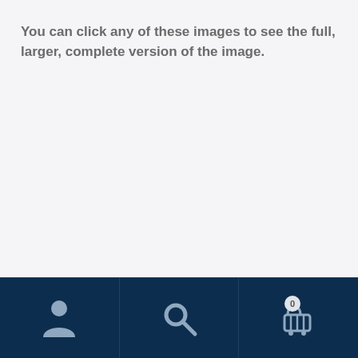You can click any of these images to see the full, larger, complete version of the image.
[Figure (screenshot): Mobile app bottom navigation bar with three sections: user/account icon (left), search/magnifier icon (center), shopping cart icon with badge showing '0' (right), all on dark navy background]